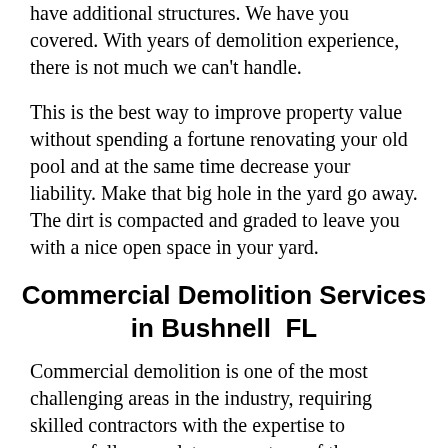have additional structures. We have you covered. With years of demolition experience, there is not much we can't handle.
This is the best way to improve property value without spending a fortune renovating your old pool and at the same time decrease your liability. Make that big hole in the yard go away. The dirt is compacted and graded to leave you with a nice open space in your yard.
Commercial Demolition Services in Bushnell  FL
Commercial demolition is one of the most challenging areas in the industry, requiring skilled contractors with the expertise to successfully complete every stage of the project. At Champion Contracting, we pride ourselves on being the best commercial demolition choice for...